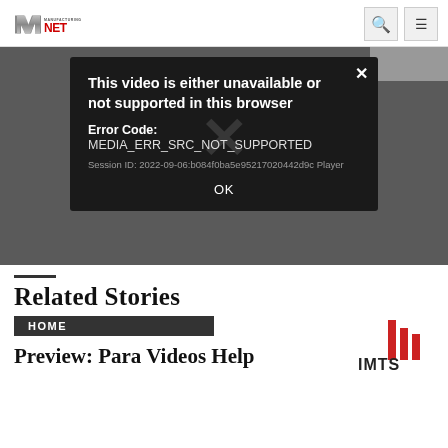Manufacturing.net
[Figure (screenshot): Error dialog box on dark video background: 'This video is either unavailable or not supported in this browser. Error Code: MEDIA_ERR_SRC_NOT_SUPPORTED. Session ID: 2022-09-06:b084f0ba5e95217020442d9c Player. OK']
Related Stories
HOME
Preview: Para Videos Help